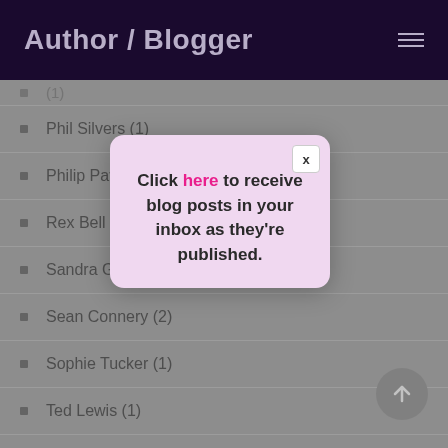Author / Blogger
Phil Silvers (1)
Philip Paval (1)
Rex Bell (1)
Sandra Giles (1)
Sean Connery (2)
Sophie Tucker (1)
Ted Lewis (1)
[Figure (screenshot): Modal popup with pink/lavender background showing text: 'Click here to receive blog posts in your inbox as they're published.' with 'here' highlighted in pink/magenta. An X close button is in the top right corner.]